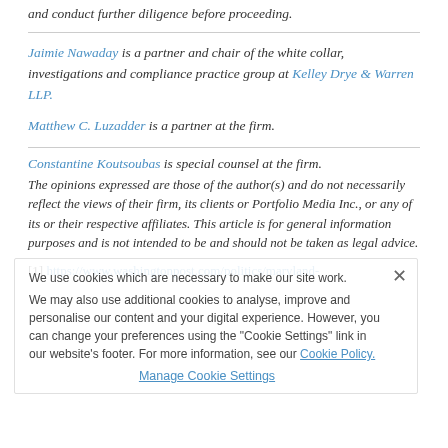and conduct further diligence before proceeding.
Jaimie Nawaday is a partner and chair of the white collar, investigations and compliance practice group at Kelley Drye & Warren LLP.
Matthew C. Luzadder is a partner at the firm.
Constantine Koutsoubas is special counsel at the firm.
The opinions expressed are those of the author(s) and do not necessarily reflect the views of their firm, its clients or Portfolio Media Inc., or any of its or their respective affiliates. This article is for general information purposes and is not intended to be and should not be taken as legal advice.
[1] https://www.washingtonpost.com/politics/maryland-